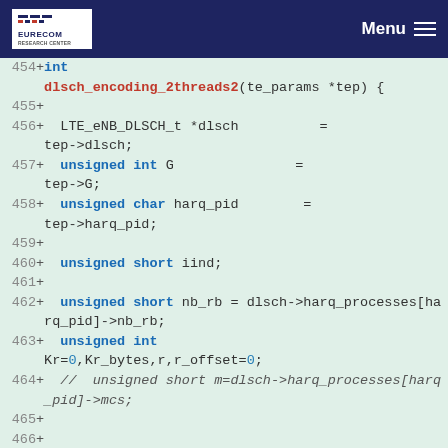EURECOM  Menu
[Figure (screenshot): Code diff view showing C function dlsch_encoding_2threads2 definition with line numbers 454-466, green background, showing variable declarations for dlsch, G, harq_pid, iind, nb_rb, Kr, Kr_bytes, r, r_offset, and a commented-out line for m.]